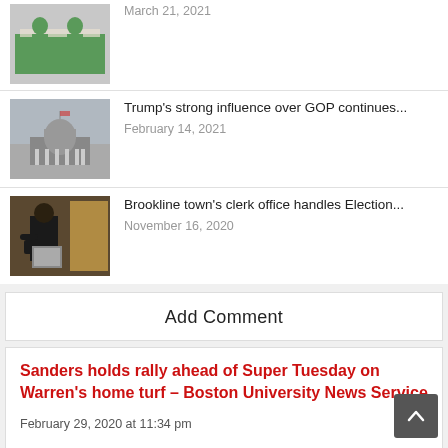March 21, 2021
Trump's strong influence over GOP continues... February 14, 2021
Brookline town's clerk office handles Election... November 16, 2020
Add Comment
Sanders holds rally ahead of Super Tuesday on Warren's home turf – Boston University News Service
February 29, 2020 at 11:34 pm